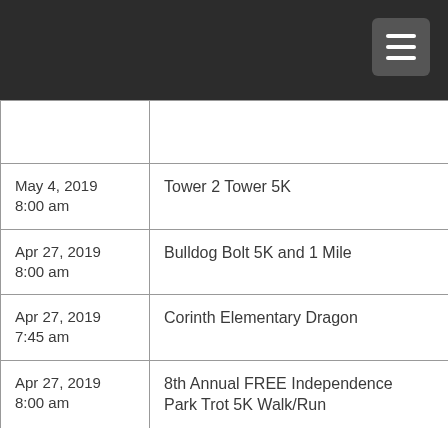|  |  |
| May 4, 2019
8:00 am | Tower 2 Tower 5K |
| Apr 27, 2019
8:00 am | Bulldog Bolt 5K and 1 Mile |
| Apr 27, 2019
7:45 am | Corinth Elementary Dragon |
| Apr 27, 2019
8:00 am | 8th Annual FREE Independence Park Trot 5K Walk/Run |